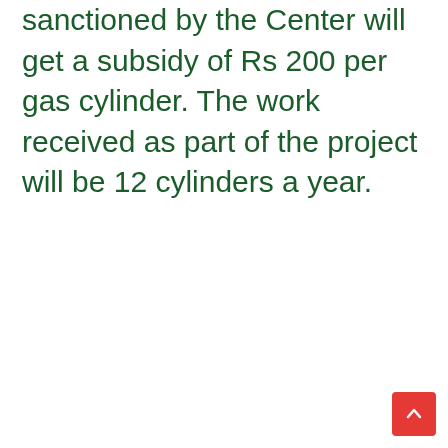sanctioned by the Center will get a subsidy of Rs 200 per gas cylinder. The work received as part of the project will be 12 cylinders a year.